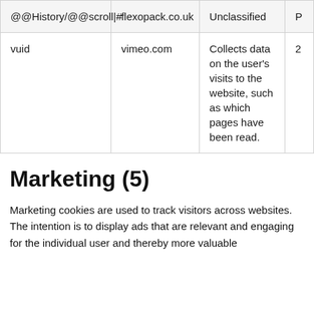| Name | Provider | Purpose | Expiry |
| --- | --- | --- | --- |
| @@History/@@scroll|# | flexopack.co.uk | Unclassified | P |
| vuid | vimeo.com | Collects data on the user's visits to the website, such as which pages have been read. | 2 |
Marketing (5)
Marketing cookies are used to track visitors across websites. The intention is to display ads that are relevant and engaging for the individual user and thereby more valuable